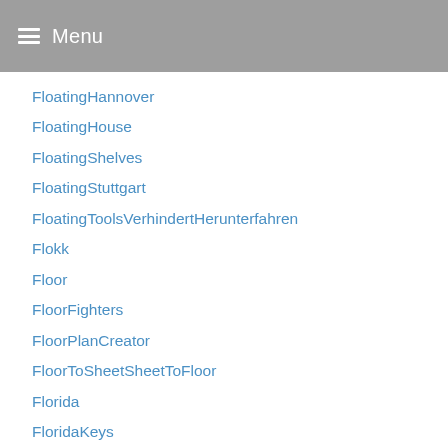Menu
FloatingHannover
FloatingHouse
FloatingShelves
FloatingStuttgart
FloatingToolsVerhindertHerunterfahren
Flokk
Floor
FloorFighters
FloorPlanCreator
FloorToSheetSheetToFloor
Florida
FloridaKeys
FlowerDoorHanging
flowerpot
FoodStorage
forkids